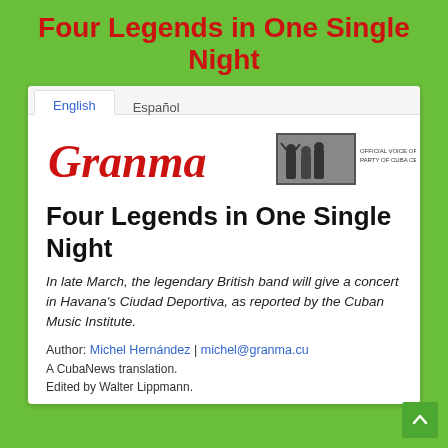Four Legends in One Single Night
[Figure (screenshot): Screenshot of a Granma newspaper article webpage with English/Español tabs, Granma logo, article title 'Four Legends in One Single Night', italic teaser text, author line, translation and editor credits.]
Four Legends in One Single Night
In late March, the legendary British band will give a concert in Havana's Ciudad Deportiva, as reported by the Cuban Music Institute.
Author: Michel Hernández | michel@granma.cu
A CubaNews translation.
Edited by Walter Lippmann.